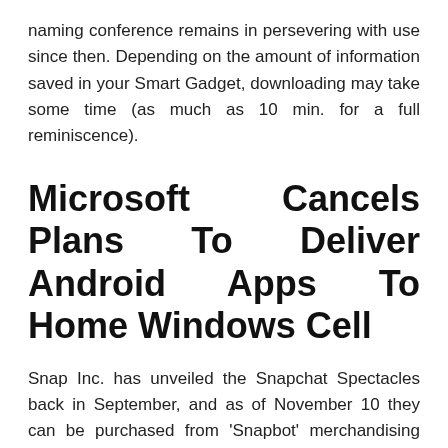naming conference remains in persevering with use since then. Depending on the amount of information saved in your Smart Gadget, downloading may take some time (as much as 10 min. for a full reminiscence).
Microsoft Cancels Plans To Deliver Android Apps To Home Windows Cell
Snap Inc. has unveiled the Snapchat Spectacles back in September, and as of November 10 they can be purchased from 'Snapbot' merchandising machines. Considering how many VR headsets have been launched in 2016, calling this the year of virtual actuality wouldn't be an understatement. Oculus Rift, HTC Vive and PlayStation VR and have set a disclaimer at improving and li...